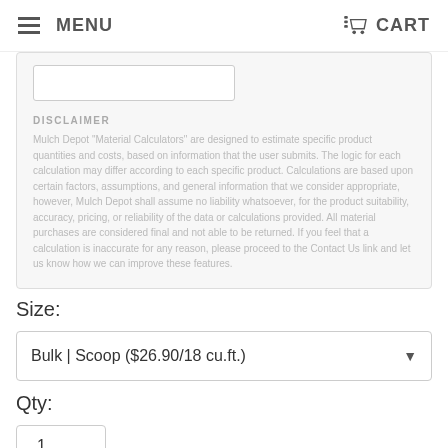MENU   CART
DISCLAIMER
Mulch Depot "Material Calculators" are designed to estimate specific product quantities and costs, based on information that the user submits. The logic for each calculation may differ according to each specific product. Calculations are based upon certain factors, assumptions, and general information that we consider appropriate, however, Mulch Depot shall assume no liability whatsoever, for the product suitability, accuracy, pricing, or reliability of the data or calculations provided. All material purchases are considered final and not able to be returned. If you feel that a calculation is inaccurate for any reason, please proceed to the Contact Us link and let us know how we can improve these features.
Size:
Bulk | Scoop ($26.90/18 cu.ft.)
Qty:
1